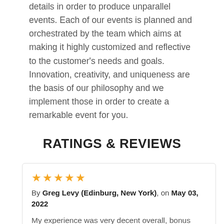details in order to produce unparallel events. Each of our events is planned and orchestrated by the team which aims at making it highly customized and reflective to the customer's needs and goals. Innovation, creativity, and uniqueness are the basis of our philosophy and we implement those in order to create a remarkable event for you.
RATINGS & REVIEWS
★★★★★
By Greg Levy (Edinburg, New York), on May 03, 2022
My experience was very decent overall, bonus